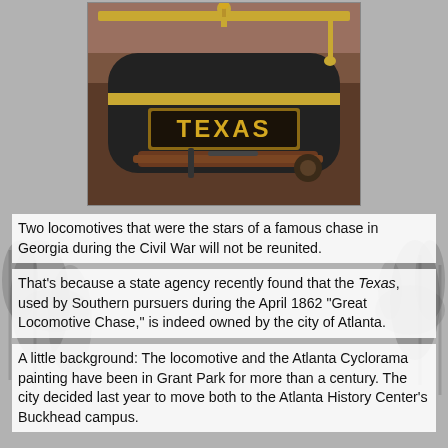[Figure (photo): Close-up photograph of the locomotive named 'TEXAS' — a Civil War era steam locomotive with a dark metal boiler and a gold/brass nameplate reading 'TEXAS' in large letters. Gold-colored bars and fittings are visible above. A wooden beam is visible lower in the frame. Background shows an indoor museum setting.]
Two locomotives that were the stars of a famous chase in Georgia during the Civil War will not be reunited.
That's because a state agency recently found that the Texas, used by Southern pursuers during the April 1862 "Great Locomotive Chase," is indeed owned by the city of Atlanta.
A little background: The locomotive and the Atlanta Cyclorama painting have been in Grant Park for more than a century. The city decided last year to move both to the Atlanta History Center's Buckhead campus.